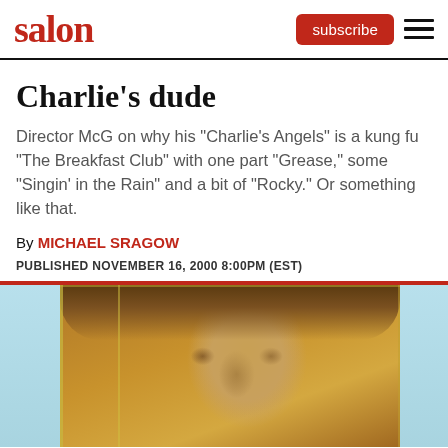salon | subscribe
Charlie's dude
Director McG on why his "Charlie's Angels" is a kung fu "The Breakfast Club" with one part "Grease," some "Singin' in the Rain" and a bit of "Rocky." Or something like that.
By MICHAEL SRAGOW
PUBLISHED NOVEMBER 16, 2000 8:00PM (EST)
[Figure (photo): Close-up photo of a man's face with short dark hair, warm golden/amber tones, partial view]